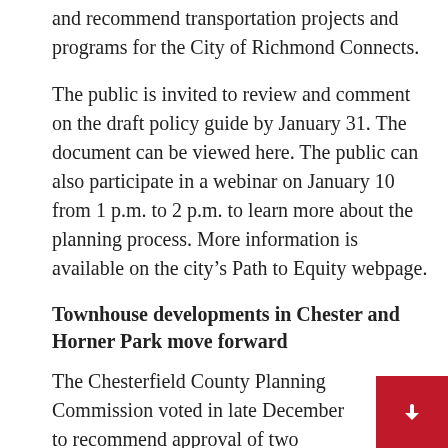and recommend transportation projects and programs for the City of Richmond Connects.
The public is invited to review and comment on the draft policy guide by January 31. The document can be viewed here. The public can also participate in a webinar on January 10 from 1 p.m. to 2 p.m. to learn more about the planning process. More information is available on the city’s Path to Equity webpage.
Townhouse developments in Chester and Horner Park move forward
The Chesterfield County Planning Commission voted in late December to recommend approval of two proposals related to new townhouse developments.